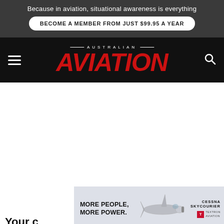Because in aviation, situational awareness is everything
BECOME A MEMBER FROM JUST $99.95 A YEAR
[Figure (logo): Australian Aviation magazine logo with red italic AVIATION text on black nav bar with hamburger menu and search icon]
[Figure (infographic): Cessna SkyCourier advertisement banner: MORE PEOPLE. MORE POWER. with aircraft image and Cessna SkyCourier and Textron Aviation logos]
Your c